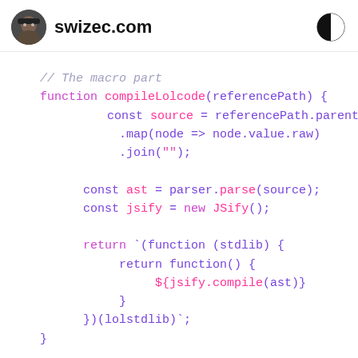swizec.com
[Figure (screenshot): Code screenshot showing a JavaScript function compileLolcode that parses a source string and returns a compiled template literal function.]
// The macro part
function compileLolcode(referencePath) {
    const source = referencePath.parentPath.r
        .map(node => node.value.raw)
        .join("");

    const ast = parser.parse(source);
    const jsify = new JSify();

    return `(function (stdlib) {
        return function() {
            ${jsify.compile(ast)}
        }
    })(lolstdlib)`;
}